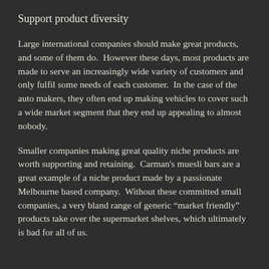Support product diversity
Large international companies should make great products, and some of them do. However these days, most products are made to serve an increasingly wide variety of customers and only fulfil some needs of each customer. In the case of the auto makers, they often end up making vehicles to cover such a wide market segment that they end up appealing to almost nobody.
Smaller companies making great quality niche products are worth supporting and retaining. Carman's muesli bars are a great example of a niche product made by a passionate Melbourne based company. Without these committed small companies, a very bland range of generic “market friendly” products take over the supermarket shelves, which ultimately is bad for all of us.